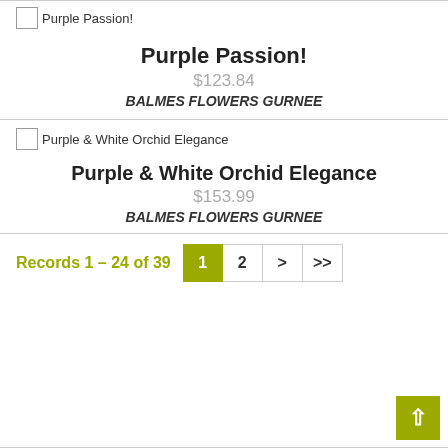[Figure (photo): Broken image placeholder for Purple Passion! product]
Purple Passion!
$123.84
BALMES FLOWERS GURNEE
[Figure (photo): Broken image placeholder for Purple & White Orchid Elegance product]
Purple & White Orchid Elegance
$153.99
BALMES FLOWERS GURNEE
Records 1 – 24 of 39